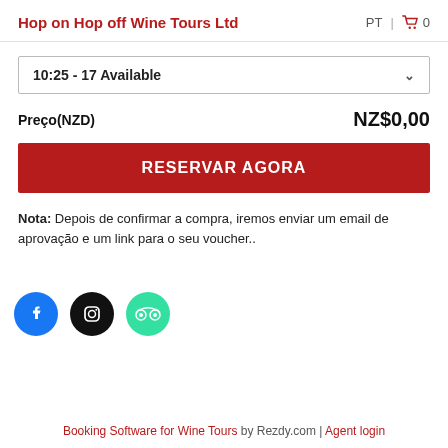Hop on Hop off Wine Tours Ltd  PT  🛒 0
10:25 - 17 Available
Preço(NZD)   NZ$0,00
RESERVAR AGORA
Nota: Depois de confirmar a compra, iremos enviar um email de aprovação e um link para o seu voucher..
[Figure (other): Social media icons: Facebook (blue circle), Instagram (black circle), TripAdvisor (green circle)]
Booking Software for Wine Tours by Rezdy.com | Agent login